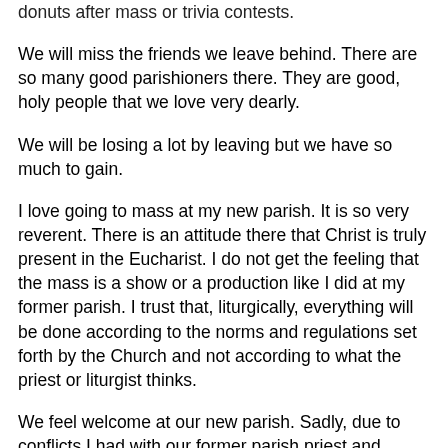donuts after mass or trivia contests.
We will miss the friends we leave behind.  There are so many good parishioners there.  They are good, holy people that we love very dearly.
We will be losing a lot by leaving but we have so much to gain.
I love going to mass at my new parish.  It is so very reverent.   There is an attitude there that Christ is truly present in the Eucharist.   I do not get the feeling that the mass is a show or a production like I did at my former parish.   I trust that, liturgically, everything will be done according to the norms and regulations set forth by the Church and not according to what the priest or liturgist thinks.
We feel welcome at our new parish.   Sadly, due to conflicts I had with our former parish priest and members of the parish staff, I did not feel that my family or I were welcome at our old parish.   I did not feel comfortable with the looks and attitudes I received by certain people there.  I want to